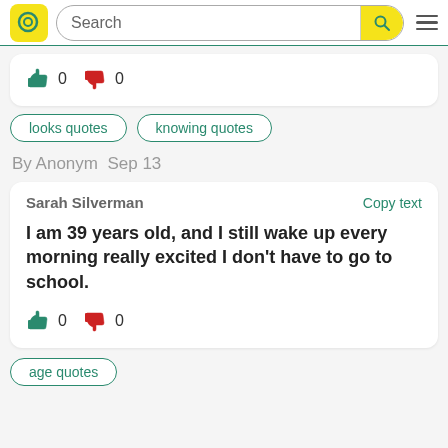Search
[Figure (screenshot): Vote row with thumbs up (green, 0) and thumbs down (red, 0)]
looks quotes
knowing quotes
By Anonym  Sep 13
Sarah Silverman — Copy text
I am 39 years old, and I still wake up every morning really excited I don't have to go to school.
[Figure (screenshot): Vote row with thumbs up (green, 0) and thumbs down (red, 0)]